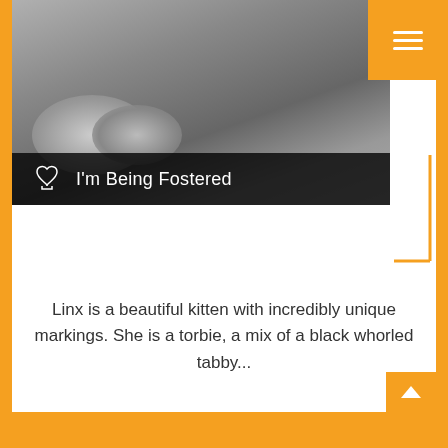[Figure (photo): Cat photo showing kittens, partially visible at top of card, grayscale-toned]
I'm Being Fostered
Linx is a beautiful kitten with incredibly unique markings. She is a torbie, a mix of a black whorled tabby...
Domestic Medium Hair
Female
Baby